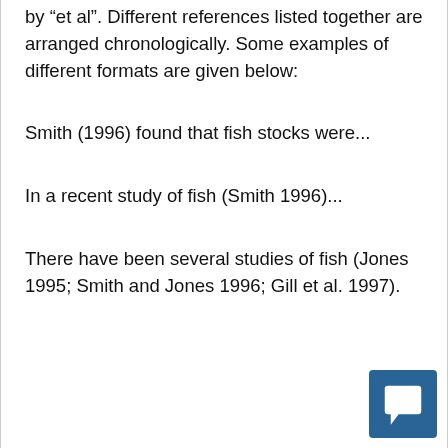by "et al". Different references listed together are arranged chronologically. Some examples of different formats are given below:
Smith (1996) found that fish stocks were...
In a recent study of fish (Smith 1996)...
There have been several studies of fish (Jones 1995; Smith and Jones 1996; Gill et al. 1997).
[Figure (other): Chat/comment icon button in dark blue square, bottom right corner]